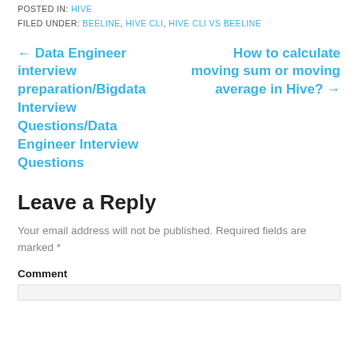POSTED IN: HIVE
FILED UNDER: BEELINE, HIVE CLI, HIVE CLI VS BEELINE
← Data Engineer interview preparation/Bigdata Interview Questions/Data Engineer Interview Questions
How to calculate moving sum or moving average in Hive? →
Leave a Reply
Your email address will not be published. Required fields are marked *
Comment